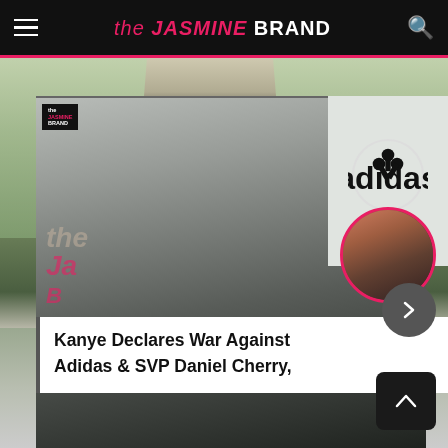the JASMINE BRAND
[Figure (photo): Celebrity news website screenshot showing a man in dreadlocks walking on a street in the background, overlaid with a card showing Kanye West wearing large black sunglasses, and adidas logo visible top right, with a circular thumbnail of another person bottom right]
Kanye Declares War Against Adidas & SVP Daniel Cherry,